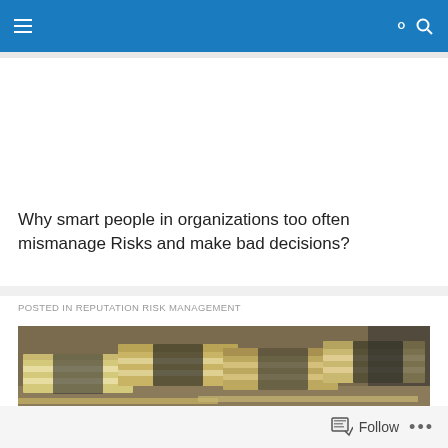Navigation bar with hamburger menu and search icon
Why smart people in organizations too often mismanage Risks and make bad decisions?
POSTED IN REPUTATION RISK MANAGEMENT
[Figure (photo): Stacks of bundled US dollar bills piled on top of each other, viewed from above at an angle, in shades of green and brown.]
Follow ...